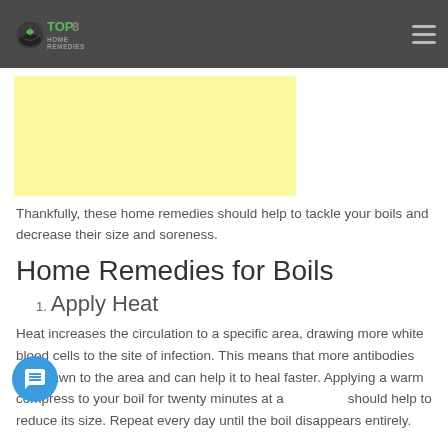TOP 8 HOME REMEDIES
[Figure (other): Yellow advertisement banner placeholder]
Thankfully, these home remedies should help to tackle your boils and decrease their size and soreness.
Home Remedies for Boils
1. Apply Heat
Heat increases the circulation to a specific area, drawing more white blood cells to the site of infection. This means that more antibodies are drawn to the area and can help it to heal faster. Applying a warm compress to your boil for twenty minutes at a should help to reduce its size. Repeat every day until the boil disappears entirely.